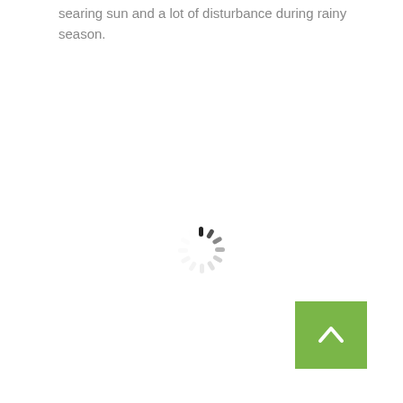searing sun and a lot of disturbance during rainy season.
[Figure (other): Loading spinner (circular activity indicator) centered on the page]
[Figure (other): Back to top button — green square with white upward-pointing chevron arrow, positioned bottom-right]